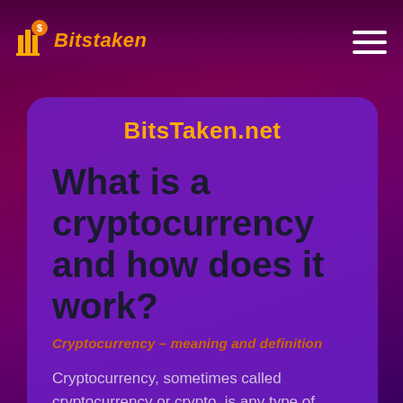Bitstaken
BitsTaken.net
What is a cryptocurrency and how does it work?
Cryptocurrency – meaning and definition
Cryptocurrency, sometimes called cryptocurrency or crypto, is any type of